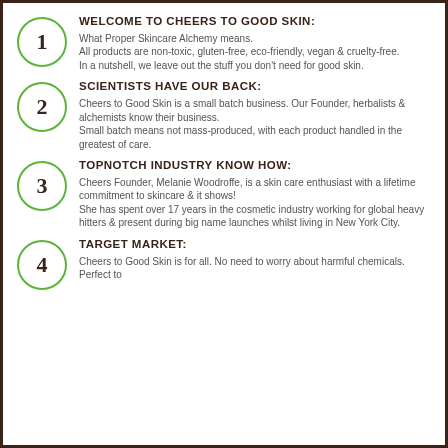1 WELCOME TO CHEERS TO GOOD SKIN: What Proper Skincare Alchemy means. All products are non-toxic, gluten-free, eco-friendly, vegan & cruelty-free. In a nutshell, we leave out the stuff you don't need for good skin.
2 SCIENTISTS HAVE OUR BACK: Cheers to Good Skin is a small batch business. Our Founder, herbalists & alchemists know their business. Small batch means not mass-produced, with each product handled in the greatest of care.
3 TOPNOTCH INDUSTRY KNOW HOW: Cheers Founder, Melanie Woodroffe, is a skin care enthusiast with a lifetime commitment to skincare & it shows! She has spent over 17 years in the cosmetic industry working for global heavy hitters & present during big name launches whilst living in New York City.
4 TARGET MARKET: Cheers to Good Skin is for all. No need to worry about harmful chemicals. Perfect to